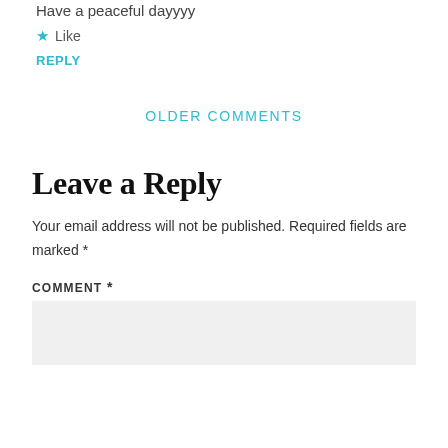Have a peaceful dayyyy
★ Like
REPLY
OLDER COMMENTS
Leave a Reply
Your email address will not be published. Required fields are marked *
COMMENT *